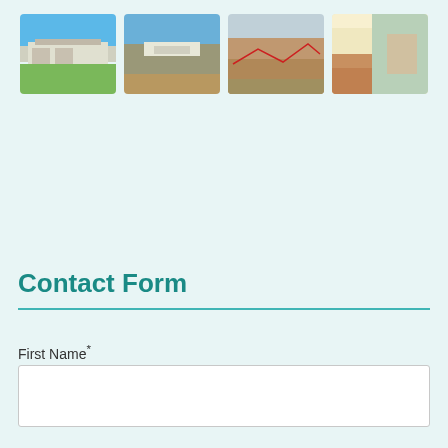[Figure (photo): Row of four property photos: house exterior, aerial view, land plot, kitchen interior]
Contact Form
First Name*